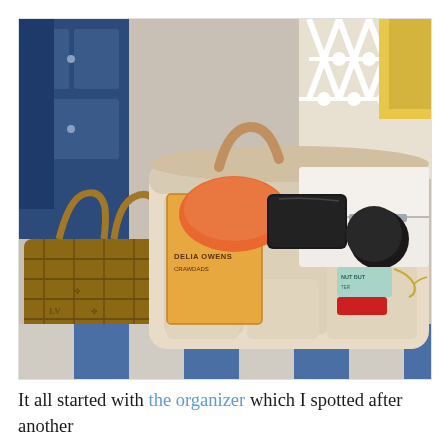[Figure (photo): A beige felt purse organizer insert filled with various items including a book by Delia Owens, an orange wallet/pouch, black sunglasses case, a white hinged box, and other accessories. The organizer has multiple pockets and compartments. It sits on a blue and white checkered surface. A Louis Vuitton bag is visible to the left, and a white lattice chair/decor piece is visible in the background along with blue furniture and yellow fabric.]
It all started with the organizer which I spotted after another